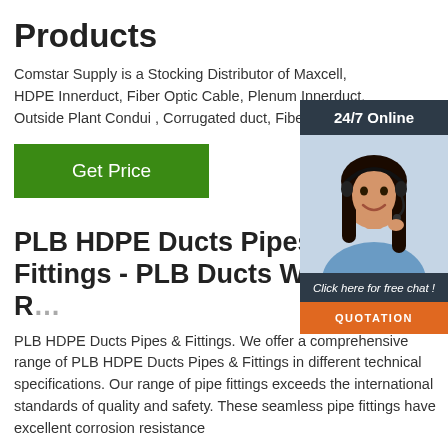Products
Comstar Supply is a Stocking Distributor of Maxcell, HDPE Innerduct, Fiber Optic Cable, Plenum Innerduct, Outside Plant Conduit, Corrugated duct, Fiber Optic Duct
[Figure (other): Green 'Get Price' button]
[Figure (photo): Customer service representative with headset, 24/7 Online chat widget with 'Click here for free chat!' and orange QUOTATION button]
PLB HDPE Ducts Pipes & Fittings - PLB Ducts With R...
PLB HDPE Ducts Pipes & Fittings. We offer a comprehensive range of PLB HDPE Ducts Pipes & Fittings in different technical specifications. Our range of pipe fittings exceeds the international standards of quality and safety. These seamless pipe fittings have excellent corrosion resistance...